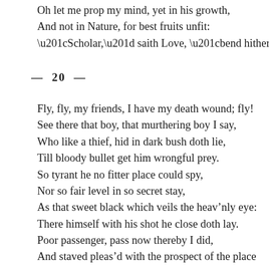Oh let me prop my mind, yet in his growth,
And not in Nature, for best fruits unfit:
“Scholar,” saith Love, “bend hitherward your wit.”
—  20  —
Fly, fly, my friends, I have my death wound; fly!
See there that boy, that murthering boy I say,
Who like a thief, hid in dark bush doth lie,
Till bloody bullet get him wrongful prey.
So tyrant he no fitter place could spy,
Nor so fair level in so secret stay,
As that sweet black which veils the heav’nly eye:
There himself with his shot he close doth lay.
Poor passenger, pass now thereby I did,
And staved pleas’d with the prospect of the place